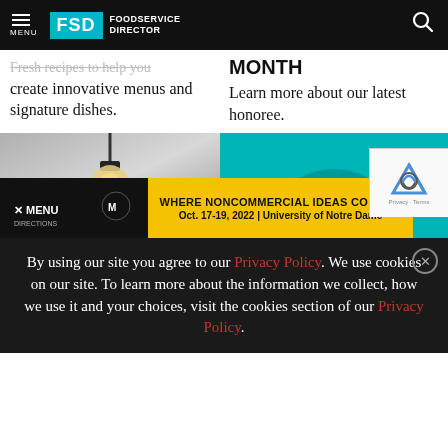MENU | FSD FOODSERVICE DIRECTOR
Fresh recipes to help you create innovative menus and signature dishes.
MONTH
Learn more about our latest honoree.
[Figure (photo): Left: pendant light bulb photo on grey background. Right: teal headphones on teal background.]
[Figure (infographic): Ad banner: Menu Directions logo on black left panel; yellow panel with text 'WHERE NONCOMMERCIAL IDEAS COLLIDE' and 'Oct. 17-19, 2022 | University of Notre Dame'. Close X button top right.]
By using our site you agree to our Privacy Policy. We use cookies on our site. To learn more about the information we collect, how we use it and your choices, visit the cookies section of our Privacy Policy.